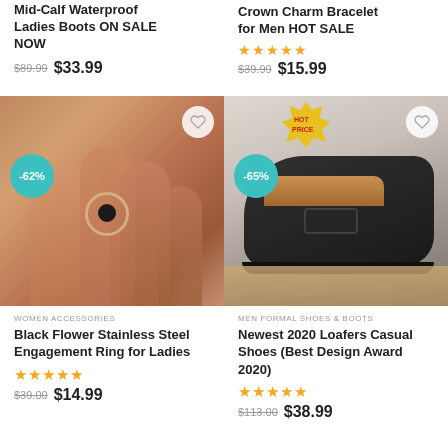Mid-Calf Waterproof Ladies Boots ON SALE NOW
$89.99  $33.99
Crown Charm Bracelet for Men HOT SALE
$39.99  $15.99
[Figure (photo): Hand wearing a black flower stainless steel ring, with -62% discount badge and heart icon]
WOMEN ACCESSORIES
Black Flower Stainless Steel Engagement Ring for Ladies
$39.00  $14.99
[Figure (photo): Black leather loafers on wooden surface, with -65% discount badge, HOT PRICE badge and heart icon]
MEN FORMAL SHOES & BOOTS
Newest 2020 Loafers Casual Shoes (Best Design Award 2020)
$113.00  $38.99